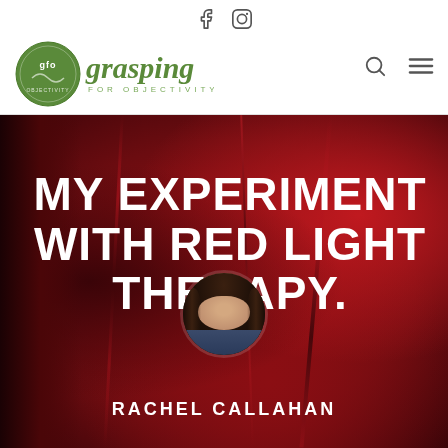[Figure (logo): Grasping for Objectivity logo with GFO circular emblem and text]
[Figure (photo): Hero image with red silky fabric background showing title MY EXPERIMENT WITH RED LIGHT THERAPY., author avatar photo, and author name RACHEL CALLAHAN]
MY EXPERIMENT WITH RED LIGHT THERAPY.
RACHEL CALLAHAN